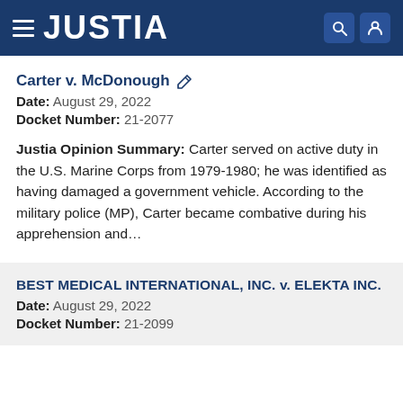JUSTIA
Carter v. McDonough
Date: August 29, 2022
Docket Number: 21-2077
Justia Opinion Summary: Carter served on active duty in the U.S. Marine Corps from 1979-1980; he was identified as having damaged a government vehicle. According to the military police (MP), Carter became combative during his apprehension and...
BEST MEDICAL INTERNATIONAL, INC. v. ELEKTA INC.
Date: August 29, 2022
Docket Number: 21-2099